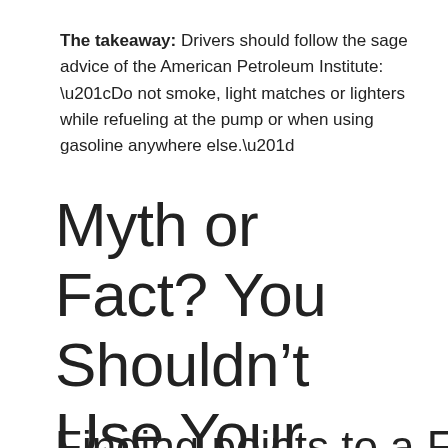The takeaway: Drivers should follow the sage advice of the American Petroleum Institute: "Do not smoke, light matches or lighters while refueling at the pump or when using gasoline anywhere else."
Myth or Fact? You Shouldn’t Use Your Cell Phone at the Pump.
Finding points to a FACT